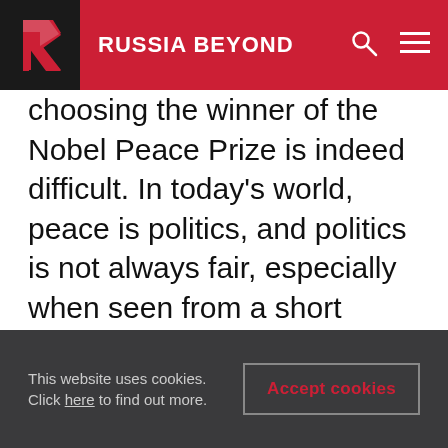RUSSIA BEYOND
choosing the winner of the Nobel Peace Prize is indeed difficult. In today's world, peace is politics, and politics is not always fair, especially when seen from a short historical perspective. Whatever Mr. Ahtissari's past achievements in Namibia and Northern Ireland, he is known to the world primarily as the architect of the plan for Kosovo that bears his name and that is aimed at making Kosovo's de facto independence a recognized and legal one. Opinions on the benefits of this independence vary - from total acceptance in
This website uses cookies. Click here to find out more.